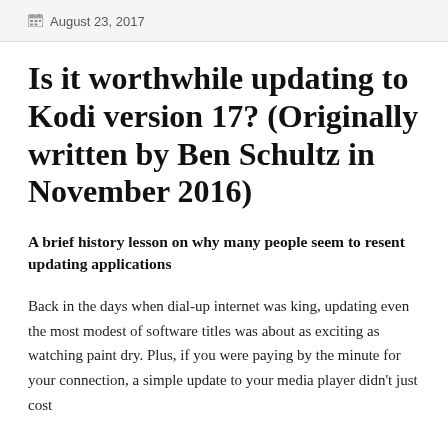August 23, 2017
Is it worthwhile updating to Kodi version 17? (Originally written by Ben Schultz in November 2016)
A brief history lesson on why many people seem to resent updating applications
Back in the days when dial-up internet was king, updating even the most modest of software titles was about as exciting as watching paint dry. Plus, if you were paying by the minute for your connection, a simple update to your media player didn't just cost